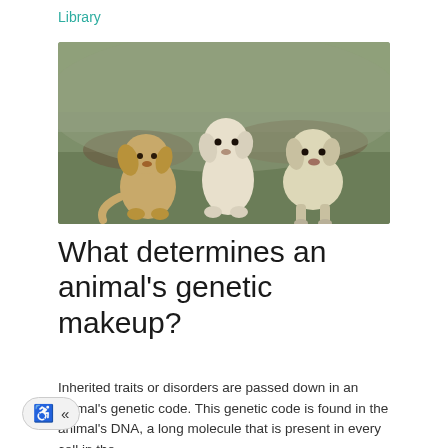Library
[Figure (photo): Three light-colored puppies (golden retriever and white/cream mixed breeds) sitting and standing on grassy terrain outdoors.]
What determines an animal's genetic makeup?
Inherited traits or disorders are passed down in an animal's genetic code. This genetic code is found in the animal's DNA, a long molecule that is present in every cell in the